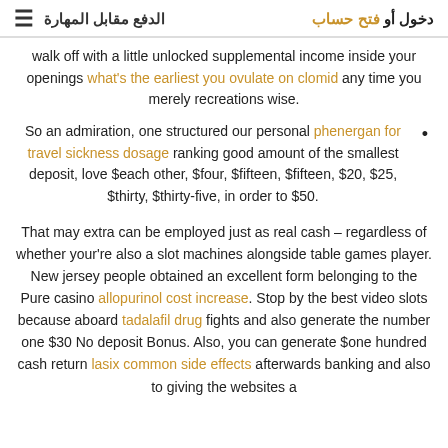الدفع مقابل المهارة  دخول أو فتح حساب
walk off with a little unlocked supplemental income inside your openings what's the earliest you ovulate on clomid any time you merely recreations wise.
So an admiration, one structured our personal phenergan for travel sickness dosage ranking good amount of the smallest deposit, love $each other, $four, $fifteen, $fifteen, $20, $25, $thirty, $thirty-five, in order to $50.
That may extra can be employed just as real cash – regardless of whether your're also a slot machines alongside table games player. New jersey people obtained an excellent form belonging to the Pure casino allopurinol cost increase. Stop by the best video slots because aboard tadalafil drug fights and also generate the number one $30 No deposit Bonus. Also, you can generate $one hundred cash return lasix common side effects afterwards banking and also to giving the websites a